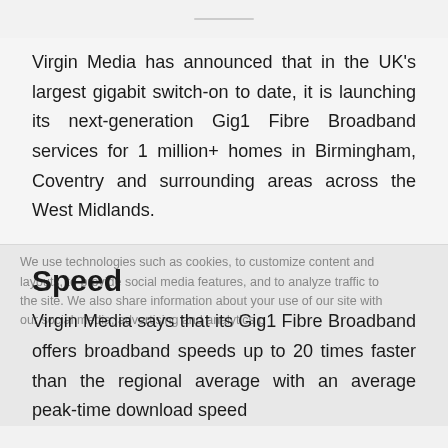Virgin Media has announced that in the UK's largest gigabit switch-on to date, it is launching its next-generation Gig1 Fibre Broadband services for 1 million+ homes in Birmingham, Coventry and surrounding areas across the West Midlands.
Speed
Virgin Media says that its Gig1 Fibre Broadband offers broadband speeds up to 20 times faster than the regional average with an average peak-time download speed